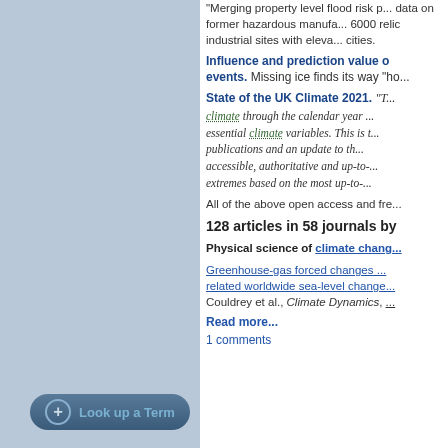"Merging property level flood risk p... data on former hazardous manufa... 6000 relic industrial sites with eleva... cities.
Influence and prediction value of events. Missing ice finds its way "ho...
State of the UK Climate 2021.
"T... climate through the calendar year ... essential climate variables. This is t... publications and an update to th... accessible, authoritative and up-to-... extremes based on the most up-to-...
All of the above open access and fre...
128 articles in 58 journals by
Physical science of climate chang...
Greenhouse-gas forced changes ... related worldwide sea-level change... Couldrey et al., Climate Dynamics, ...
Read more...
1 comments